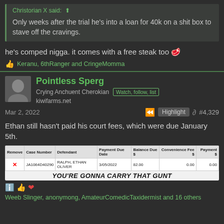Christorian X said: [upvote icon]
Only weeks after the trial he's into a loan for 40k on a shit box to stave off the cravings.
he's comped nigga. it comes with a free steak too 🥩
Keranu, 6thRanger and CringeMomma
Pointless Sperg
Crying Anchuent Cherokian [badge]
kiwifarms.net
Mar 2, 2022  #4,329  Highlight
Ethan still hasn't paid his court fees, which were due January 5th.
| Remove | Case Number | Defendant | Payment Due Date | Balance Due $ | Convenience Fee $ | Payment $ |
| --- | --- | --- | --- | --- | --- | --- |
| X | JA1064D40290 | RALPH, ETHAN OLIVER | 3/05/2022 | 82.00 | 0.00 | 0.00 |
YOU'RE GONNA CARRY THAT GUNT
Weeb Slinger, anonymong, AmateurComedicTaxidermist and 16 others